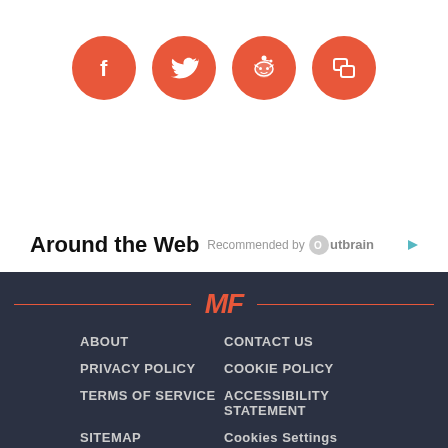[Figure (infographic): Four social media share buttons as coral/orange circles with white icons: Facebook, Twitter, Reddit, and a copy/link icon]
Around the Web
[Figure (logo): Recommended by Outbrain logo in gray text with Outbrain icon]
[Figure (logo): MF logo in coral/orange italic bold text, flanked by two horizontal coral lines]
ABOUT
CONTACT US
PRIVACY POLICY
COOKIE POLICY
TERMS OF SERVICE
ACCESSIBILITY STATEMENT
SITEMAP
Cookies Settings